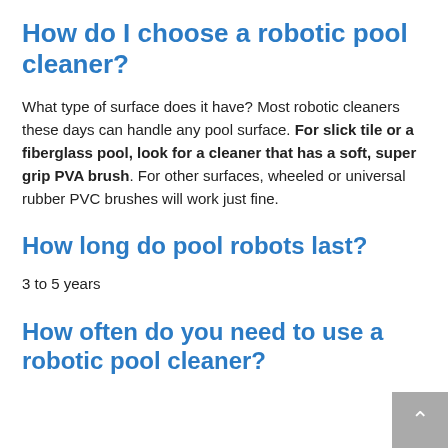How do I choose a robotic pool cleaner?
What type of surface does it have? Most robotic cleaners these days can handle any pool surface. For slick tile or a fiberglass pool, look for a cleaner that has a soft, super grip PVA brush. For other surfaces, wheeled or universal rubber PVC brushes will work just fine.
How long do pool robots last?
3 to 5 years
How often do you need to use a robotic pool cleaner?